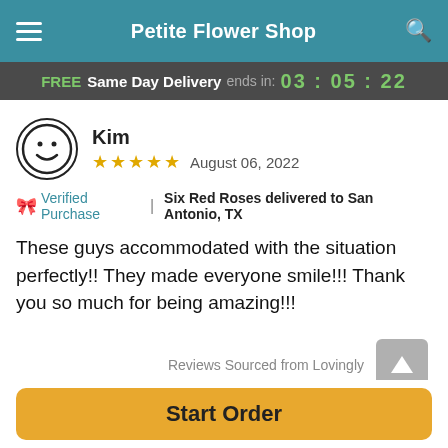Petite Flower Shop
FREE Same Day Delivery ends in: 03:05:22
Kim
★★★★★  August 06, 2022
🎀 Verified Purchase  |  Six Red Roses delivered to San Antonio, TX
These guys accommodated with the situation perfectly!! They made everyone smile!!! Thank you so much for being amazing!!!
Reviews Sourced from Lovingly
You May Also Like
Start Order